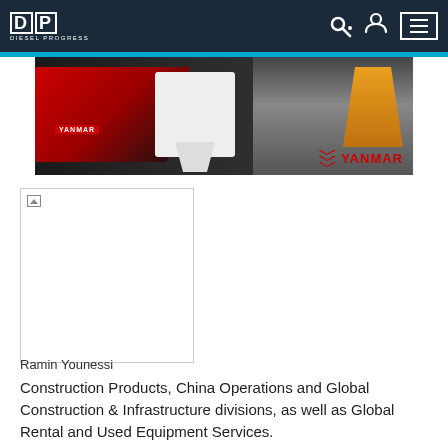Diesel Progress
[Figure (photo): Yanmar advertisement banner showing a red engine, a person interacting with a tablet, and construction excavator equipment on a dark background with Yanmar logo in red.]
[Figure (photo): Portrait photo of Ramin Younessi (broken/missing image placeholder shown with border)]
Ramin Younessi
Construction Products, China Operations and Global Construction & Infrastructure divisions, as well as Global Rental and Used Equipment Services.